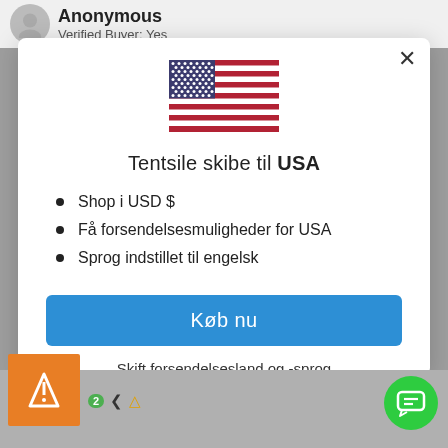Anonymous
Verified Buyer: Yes
[Figure (illustration): US flag emoji/image centered in modal]
Tentsile skibe til USA
Shop i USD $
Få forsendelsesmuligheder for USA
Sprog indstillet til engelsk
Køb nu
Skift forsendelsesland og -sprog